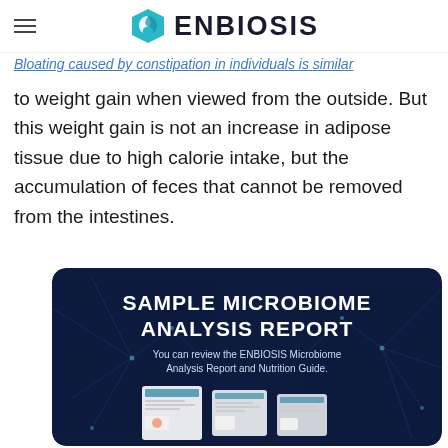ENBIOSIS
quite an uncomfortable condition.
Bloating caused by constipation in individuals is similar to weight gain when viewed from the outside. But this weight gain is not an increase in adipose tissue due to high calorie intake, but the accumulation of feces that cannot be removed from the intestines.
[Figure (illustration): ENBIOSIS Sample Microbiome Analysis Report promotional banner with dark blue background and neural network imagery. Large white bold text reads 'SAMPLE MICROBIOME ANALYSIS REPORT'. Subtitle: 'You can review the ENBIOSIS Microbiome Analysis Report and Nutrition Guide.' Below shows sample report document thumbnails.]